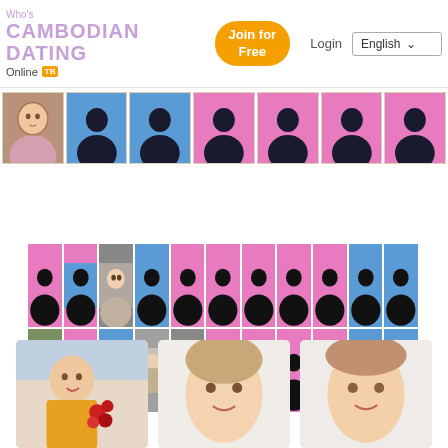CAMBODIAN DATING — Who's Online [TB badge] | Join for Free | Login | English
[Figure (screenshot): Horizontal strip of 7 user profile thumbnails: first is a real photo of a young woman, remaining 6 are silhouette placeholders on blue and pink backgrounds]
[Figure (screenshot): Grid of 22 profile thumbnails (2 rows × 11 columns) mixing silhouette placeholders on blue and pink backgrounds with a few real photos of individuals]
[Figure (screenshot): Row of 3 user profile photos at the bottom: a woman with red flowers, and two partially-shown faces/people]